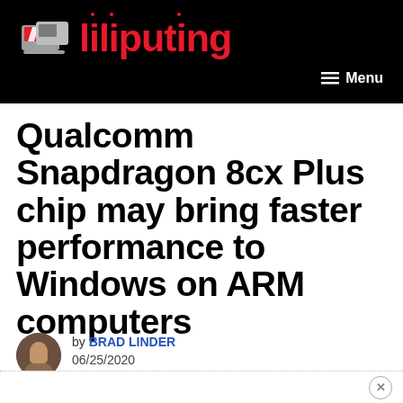Liliputing — Menu
Qualcomm Snapdragon 8cx Plus chip may bring faster performance to Windows on ARM computers
by BRAD LINDER
06/25/2020
Comments Off